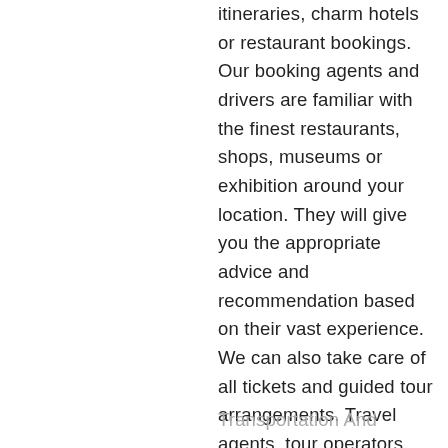itineraries, charm hotels or restaurant bookings. Our booking agents and drivers are familiar with the finest restaurants, shops, museums or exhibition around your location. They will give you the appropriate advice and recommendation based on their vast experience. We can also take care of all tickets and guided tour arrangements. Travel agents, tour operators, and many companies appreciate our personal approach and professional handling of every aspect of the booking.
Transportation And